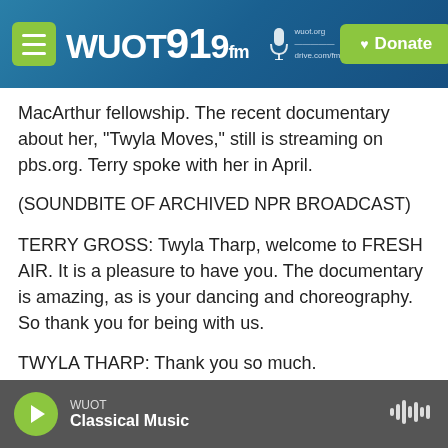[Figure (screenshot): WUOT 91.9 FM radio station website header with logo, menu button, and green Donate button on a blue gradient background]
MacArthur fellowship. The recent documentary about her, "Twyla Moves," still is streaming on pbs.org. Terry spoke with her in April.
(SOUNDBITE OF ARCHIVED NPR BROADCAST)
TERRY GROSS: Twyla Tharp, welcome to FRESH AIR. It is a pleasure to have you. The documentary is amazing, as is your dancing and choreography. So thank you for being with us.
TWYLA THARP: Thank you so much.
GROSS: So, you know, your dances draw on all
[Figure (screenshot): WUOT Classical Music audio player bar at bottom with green play button and waveform icon]